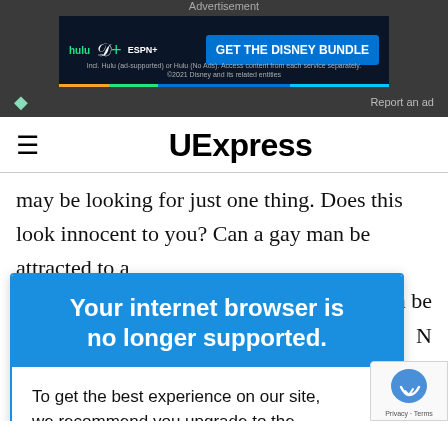Advertisement
[Figure (screenshot): Disney Bundle advertisement banner showing Hulu, Disney+, ESPN+ logos with 'GET THE DISNEY BUNDLE' call-to-action button on dark background]
Report an ad
UExpress
may be looking for just one thing. Does this look innocent to you? Can a gay man be attracted to a
[Figure (screenshot): Browser upgrade modal: header 'Your internet browser is no longer supported.' in blue, body text 'To get the best experience on our site, we recommend you upgrade to the latest version.']
man be
N
question
d to a ga